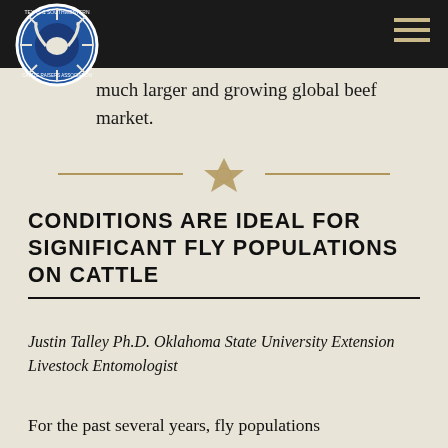Texas & Southwestern Cattle Raisers Association
...also place in the context of a much larger and growing global beef market.
[Figure (illustration): Decorative divider with a star badge motif and horizontal lines on either side, in tan/gold color]
CONDITIONS ARE IDEAL FOR SIGNIFICANT FLY POPULATIONS ON CATTLE
Justin Talley Ph.D. Oklahoma State University Extension Livestock Entomologist
For the past several years, fly populations